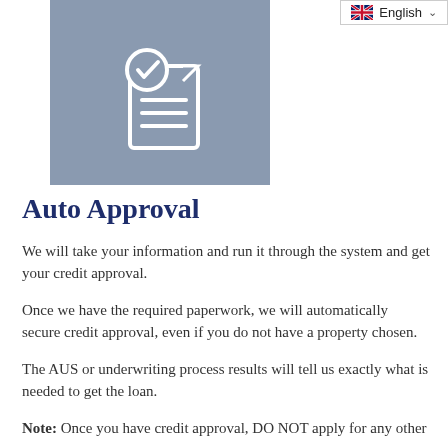[Figure (illustration): Gray square icon with a document and checkmark circle symbol in white outline]
English
Auto Approval
We will take your information and run it through the system and get your credit approval.
Once we have the required paperwork, we will automatically secure credit approval, even if you do not have a property chosen.
The AUS or underwriting process results will tell us exactly what is needed to get the loan.
Note: Once you have credit approval, DO NOT apply for any other